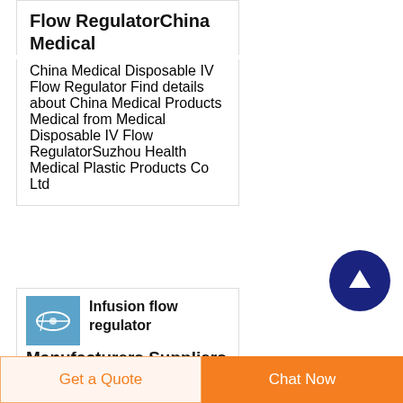Flow RegulatorChina Medical
China Medical Disposable IV Flow Regulator Find details about China Medical Products Medical from Medical Disposable IV Flow RegulatorSuzhou Health Medical Plastic Products Co Ltd
[Figure (other): Dark blue circular scroll-to-top button with upward arrow icon]
[Figure (photo): Small thumbnail image of an infusion flow regulator medical device with blue tubing]
Infusion flow regulator Manufacturers Suppliers China
Get a Quote
Chat Now